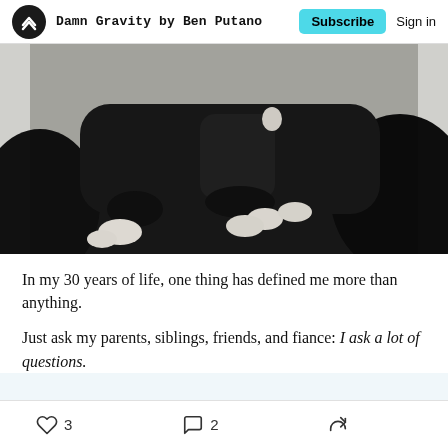Damn Gravity by Ben Putano — Subscribe | Sign in
[Figure (photo): Black and white photograph of two people sitting closely on a dark curved sofa/chair, barefoot, in casual poses]
In my 30 years of life, one thing has defined me more than anything.
Just ask my parents, siblings, friends, and fiance: I ask a lot of questions.
3 likes  2 comments  share